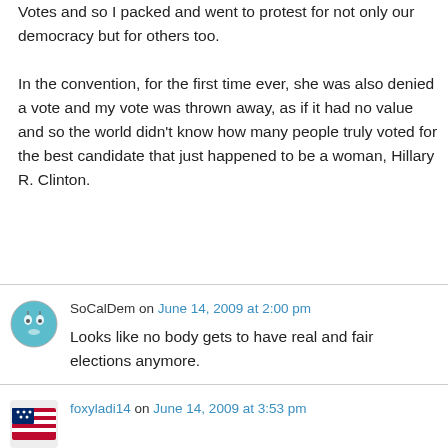Votes and so I packed and went to protest for not only our democracy but for others too.

In the convention, for the first time ever, she was also denied a vote and my vote was thrown away, as if it had no value and so the world didn't know how many people truly voted for the best candidate that just happened to be a woman, Hillary R. Clinton.
SoCalDem on June 14, 2009 at 2:00 pm
Looks like no body gets to have real and fair elections anymore.
foxyladi14 on June 14, 2009 at 3:53 pm